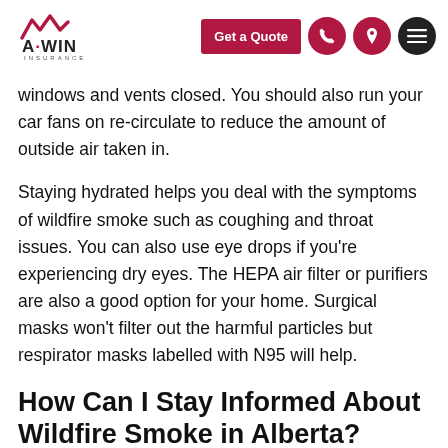[Figure (logo): A-WIN Insurance logo with red mountain/wave mark and company name]
windows and vents closed. You should also run your car fans on re-circulate to reduce the amount of outside air taken in.
Staying hydrated helps you deal with the symptoms of wildfire smoke such as coughing and throat issues. You can also use eye drops if you’re experiencing dry eyes. The HEPA air filter or purifiers are also a good option for your home. Surgical masks won’t filter out the harmful particles but respirator masks labelled with N95 will help.
How Can I Stay Informed About Wildfire Smoke in Alberta?